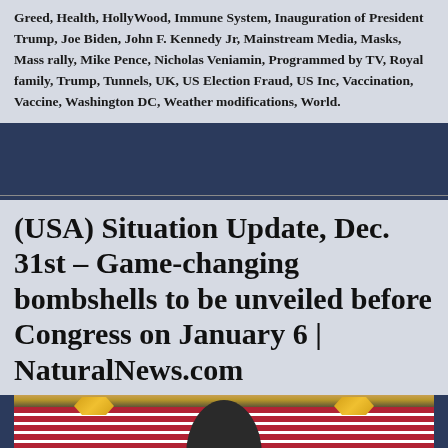Greed, Health, HollyWood, Immune System, Inauguration of President Trump, Joe Biden, John F. Kennedy Jr, Mainstream Media, Masks, Mass rally, Mike Pence, Nicholas Veniamin, Programmed by TV, Royal family, Trump, Tunnels, UK, US Election Fraud, US Inc, Vaccination, Vaccine, Washington DC, Weather modifications, World.
(USA) Situation Update, Dec. 31st – Game-changing bombshells to be unveiled before Congress on January 6 | NaturalNews.com
[Figure (photo): Photograph showing a person (appears to be Trump) in front of multiple American flags, with gold insignia visible]